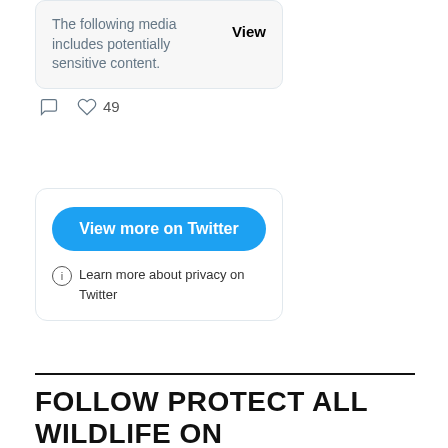[Figure (screenshot): Twitter embedded card showing a sensitive media warning. Text reads: 'The following media includes potentially sensitive content.' with a 'View' link. Below shows comment and heart icons with 49 likes.]
[Figure (screenshot): Twitter embed footer card with a blue 'View more on Twitter' button and an info icon with text 'Learn more about privacy on Twitter'.]
FOLLOW PROTECT ALL WILDLIFE ON